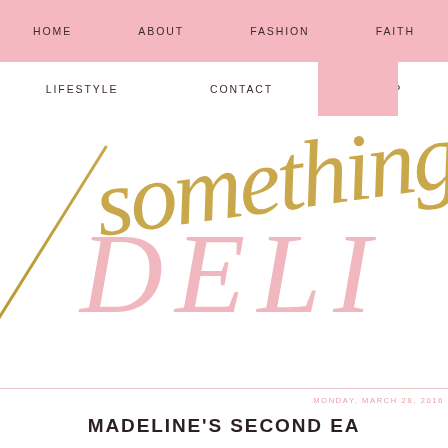HOME   ABOUT   FASHION   FAITH
LIFESTYLE   CONTACT   SHOP
[Figure (logo): Blog logo with gold script 'something' overlaid on pink serif text 'DELI' (Something Delightful blog logo), with a diagonal gold line element]
MONDAY, MARCH 28, 2016
MADELINE'S SECOND EA